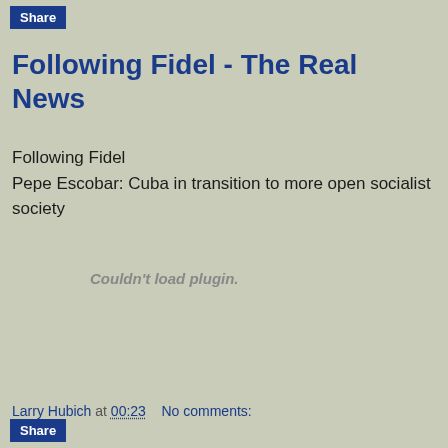Share
Following Fidel - The Real News
Following Fidel
Pepe Escobar: Cuba in transition to more open socialist society
[Figure (screenshot): Plugin error message: Couldn't load plugin.]
Larry Hubich at 00:23   No comments: